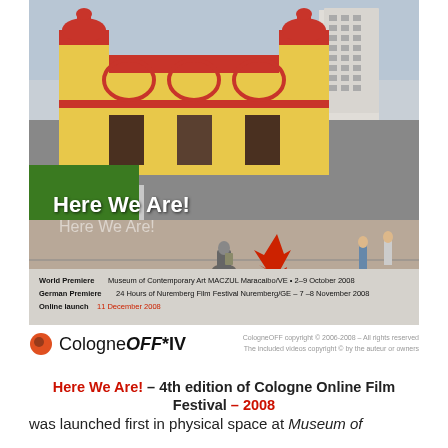[Figure (photo): Street scene photo in front of a colorful red and yellow building (appears to be in Maracaibo, Venezuela). A motorcyclist is in the middle of the road, pedestrians are visible on the sidewalk, a red arrow points to something on the road. Text overlay reads 'Here We Are!' in bold white and semi-transparent gray. The bottom portion has a gray info bar with premiere dates.]
World Premiere Museum of Contemporary Art MACZUL Maracaibo/VE • 2–9 October 2008
German Premiere 24 Hours of Nuremberg Film Festival Nuremberg/GE – 7 –8 November 2008
Online launch 11 December 2008
[Figure (logo): CologneOFF *IV logo: orange/red filled circle on the left, followed by text 'Cologne OFF *IV' where OFF is italic bold. To the right: copyright text 'CologneOFF copyright © 2006-2008 – All rights reserved. The included videos copyright © by the auteur or owners']
Here We Are! – 4th edition of Cologne Online Film Festival – 2008
was launched first in physical space at Museum of